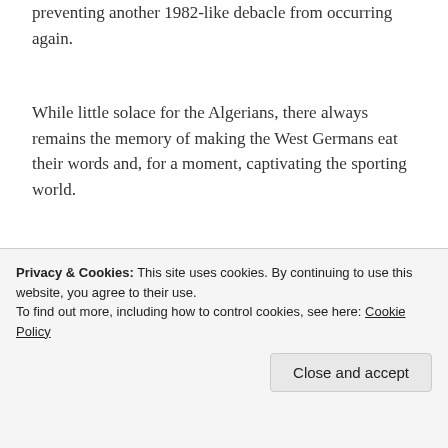preventing another 1982-like debacle from occurring again.
While little solace for the Algerians, there always remains the memory of making the West Germans eat their words and, for a moment, captivating the sporting world.
[Figure (other): WordPress VIP advertisement banner with colorful card graphics and 'Learn more' button]
2. Senegal 2002 – Henri Camara strikes again
Privacy & Cookies: This site uses cookies. By continuing to use this website, you agree to their use. To find out more, including how to control cookies, see here: Cookie Policy
Close and accept